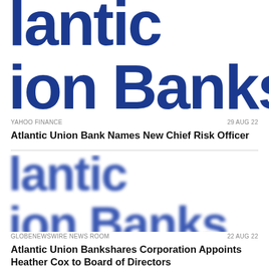[Figure (logo): Atlantic Union Banks logo — large bold blue text showing 'lantic' and 'ion Banks', cropped top portion of logo]
YAHOO FINANCE                                    29 AUG 22
Atlantic Union Bank Names New Chief Risk Officer
[Figure (logo): Atlantic Union Banks logo — large bold blue text showing 'lantic' and 'ion Banks', slightly blurred]
GLOBENEWSWIRE NEWS ROOM                          22 AUG 22
Atlantic Union Bankshares Corporation Appoints Heather Cox to Board of Directors